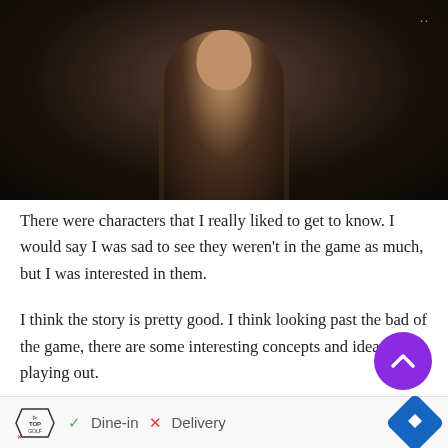[Figure (photo): Dark screenshot from a video game showing a young Asian male character in a brown leather jacket against a dark, moody background]
There were characters that I really liked to get to know. I would say I was sad to see they weren't in the game as much, but I was interested in them.
I think the story is pretty good. I think looking past the bad of the game, there are some interesting concepts and ideas playing out.
[Figure (other): Topgolf advertisement banner with Dine-in checkmark and Delivery X options, with blue navigation arrow icon]